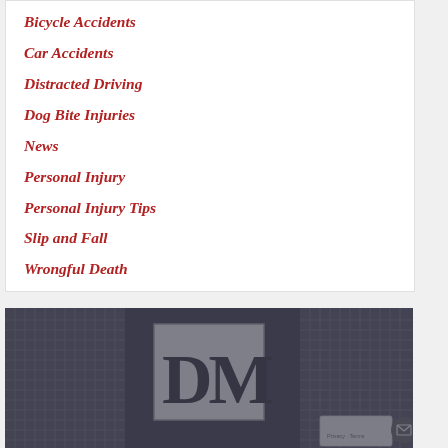Bicycle Accidents
Car Accidents
Distracted Driving
Dog Bite Injuries
News
Personal Injury
Personal Injury Tips
Slip and Fall
Wrongful Death
[Figure (logo): Law firm logo with letters DM on a white background, overlaid on a dark cityscape/building photograph. reCAPTCHA badge and mail button visible in bottom-right corner.]